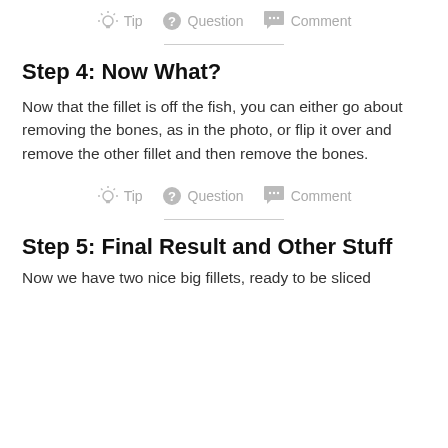[Figure (infographic): Row of icons: lightbulb (Tip), question mark circle (Question), speech bubble (Comment)]
Step 4: Now What?
Now that the fillet is off the fish, you can either go about removing the bones, as in the photo, or flip it over and remove the other fillet and then remove the bones.
[Figure (infographic): Row of icons: lightbulb (Tip), question mark circle (Question), speech bubble (Comment)]
Step 5: Final Result and Other Stuff
Now we have two nice big fillets, ready to be sliced